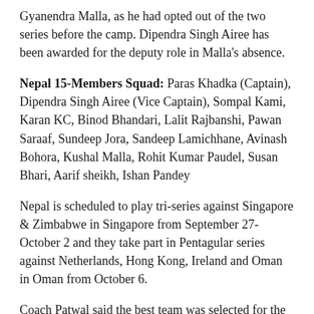Gyanendra Malla, as he had opted out of the two series before the camp. Dipendra Singh Airee has been awarded for the deputy role in Malla's absence.
Nepal 15-Members Squad: Paras Khadka (Captain), Dipendra Singh Airee (Vice Captain), Sompal Kami, Karan KC, Binod Bhandari, Lalit Rajbanshi, Pawan Saraaf, Sundeep Jora, Sandeep Lamichhane, Avinash Bohora, Kushal Malla, Rohit Kumar Paudel, Susan Bhari, Aarif sheikh, Ishan Pandey
Nepal is scheduled to play tri-series against Singapore & Zimbabwe in Singapore from September 27- October 2 and they take part in Pentagular series against Netherlands, Hong Kong, Ireland and Oman in Oman from October 6.
Coach Patwal said the best team was selected for the tours with the upcoming 13th South Asian Games in mind. “We have selected the best of the best players and we have